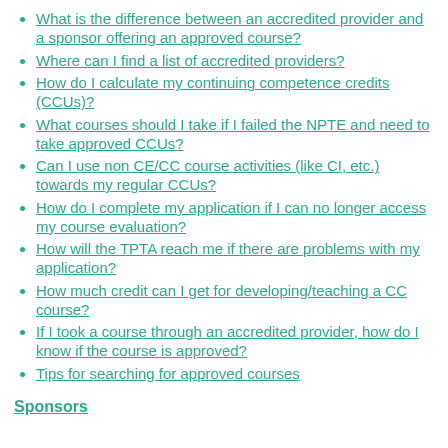What is the difference between an accredited provider and a sponsor offering an approved course?
Where can I find a list of accredited providers?
How do I calculate my continuing competence credits (CCUs)?
What courses should I take if I failed the NPTE and need to take approved CCUs?
Can I use non CE/CC course activities (like CI, etc.) towards my regular CCUs?
How do I complete my application if I can no longer access my course evaluation?
How will the TPTA reach me if there are problems with my application?
How much credit can I get for developing/teaching a CC course?
If I took a course through an accredited provider, how do I know if the course is approved?
Tips for searching for approved courses
Sponsors